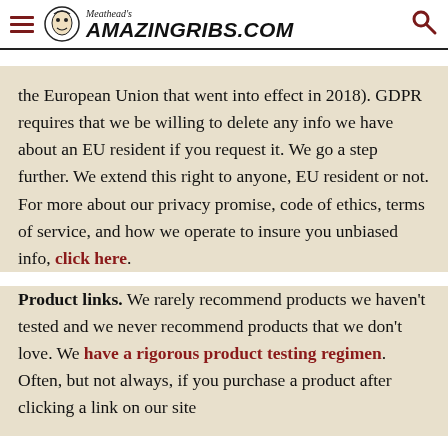Meathead's AmazingRibs.com
the European Union that went into effect in 2018). GDPR requires that we be willing to delete any info we have about an EU resident if you request it. We go a step further. We extend this right to anyone, EU resident or not. For more about our privacy promise, code of ethics, terms of service, and how we operate to insure you unbiased info, click here.
Product links. We rarely recommend products we haven't tested and we never recommend products that we don't love. We have a rigorous product testing regimen. Often, but not always, if you purchase a product after clicking a link on our site